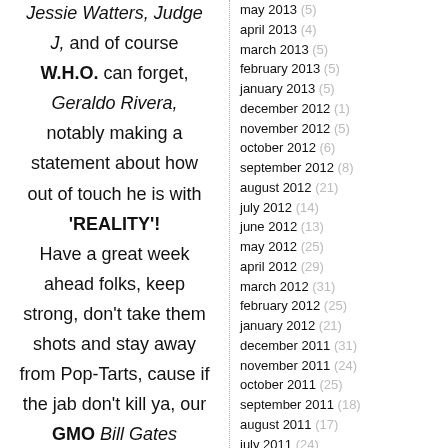Jessie Watters, Judge J, and of course W.H.O. can forget, Geraldo Rivera, notably making a statement about how out of touch he is with 'REALITY'!

Have a great week ahead folks, keep strong, don't take them shots and stay away from Pop-Tarts, cause if the jab don't kill ya, our GMO Bill Gates products' filth will, coming in the form of a 'convenient pill'...
may 2013 (5)
april 2013 (4)
march 2013 (5)
february 2013 (5)
january 2013 (5)
december 2012 (1)
november 2012 (5)
october 2012 (6)
september 2012 (8)
august 2012 (21)
july 2012 (14)
june 2012 (13)
may 2012 (25)
april 2012 (29)
march 2012 (31)
february 2012 (25)
january 2012 (21)
december 2011 (31)
november 2011 (24)
october 2011 (25)
september 2011 (18)
august 2011 (17)
july 2011 (24)
june 2011 (24)
may 2011 (27)
april 2011 (24)
march 2011 (27)
february 2011 (28)
january 2011 (29)
december 2010 (31)
november 2010 (28)
october 2010 (30)